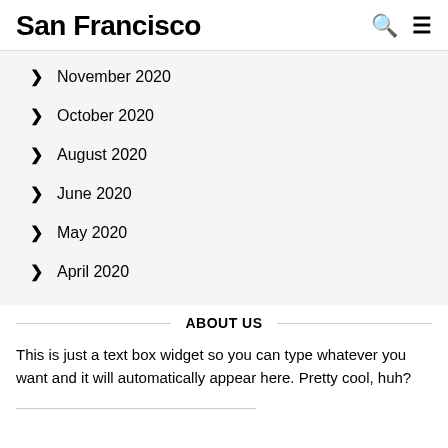San Francisco
November 2020
October 2020
August 2020
June 2020
May 2020
April 2020
ABOUT US
This is just a text box widget so you can type whatever you want and it will automatically appear here. Pretty cool, huh?